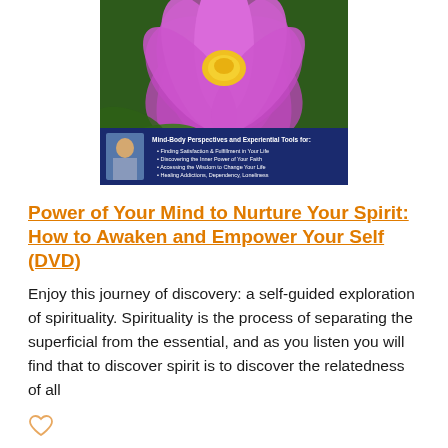[Figure (photo): DVD cover image showing a pink lotus flower on a green background above a blue panel with a photo of a man and text reading 'Mind-Body Perspectives and Experiential Tools for: Finding Satisfaction & Fulfillment in Your Life, Discovering the Inner Power of Your Faith, Accessing the Wisdom to Change Your Life, Healing Addictions, Dependency, Loneliness']
Power of Your Mind to Nurture Your Spirit: How to Awaken and Empower Your Self (DVD)
Enjoy this journey of discovery: a self-guided exploration of spirituality. Spirituality is the process of separating the superficial from the essential, and as you listen you will find that to discover spirit is to discover the relatedness of all